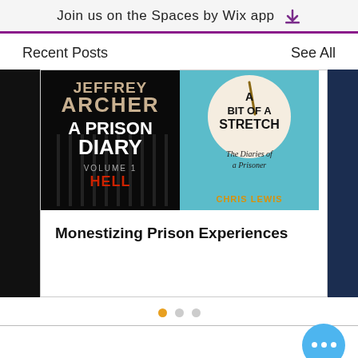Join us on the Spaces by Wix app
Recent Posts
See All
[Figure (illustration): Book covers: Jeffrey Archer 'A Prison Diary Volume 1 Hell' on black background on left, 'A Bit of a Stretch: The Diaries of a Prisoner' on teal background on right]
Monestizing Prison Experiences
Pagination dots: 3 dots, first active (orange), second and third inactive (gray)